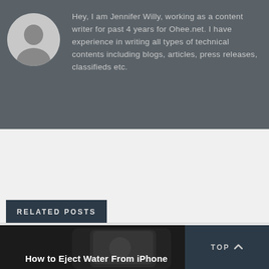[Figure (illustration): Gray circular avatar placeholder with a silhouette figure icon, on a dark gray background]
Hey, I am Jennifer Willy, working as a content writer for past 4 years for Ohee.net. I have experience in writing all types of technical contents including blogs, articles, press releases, classifieds etc.
RELATED POSTS
[Figure (photo): Photo of an iPhone partially submerged or wet, with text overlay reading 'How to Eject Water From iPhone' in bold white font]